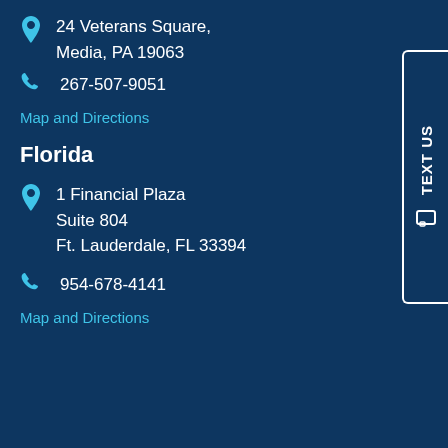24 Veterans Square, Media, PA 19063
267-507-9051
Map and Directions
Florida
1 Financial Plaza Suite 804 Ft. Lauderdale, FL 33394
954-678-4141
Map and Directions